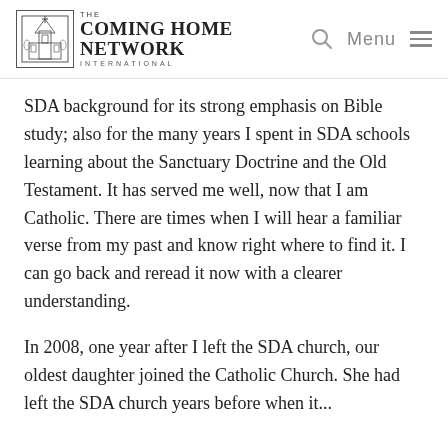The Coming Home Network International — Menu
SDA background for its strong emphasis on Bible study; also for the many years I spent in SDA schools learning about the Sanctuary Doctrine and the Old Testament. It has served me well, now that I am Catholic. There are times when I will hear a familiar verse from my past and know right where to find it. I can go back and reread it now with a clearer understanding.
In 2008, one year after I left the SDA church, our oldest daughter joined the Catholic Church. She had left the SDA church years before when it...